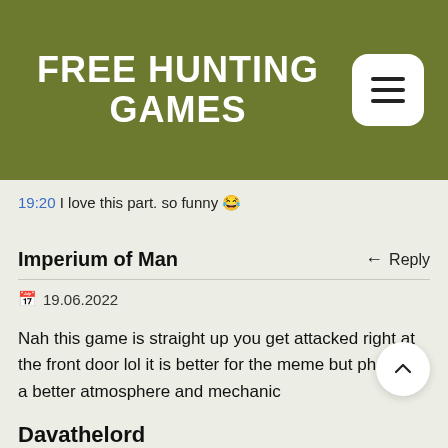FREE HUNTING GAMES
19:20 I love this part. so funny 😂
Imperium of Man
📅 19.06.2022
Nah this game is straight up you get attacked right at the front door lol it is better for the meme but phas has a better atmosphere and mechanic
Davathelord